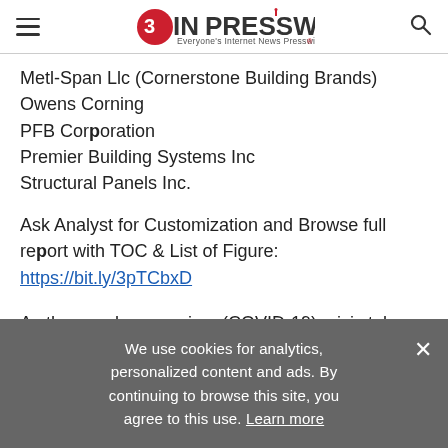EIN PRESSWIRE — Everyone's Internet News Presswire
Metl-Span Llc (Cornerstone Building Brands)
Owens Corning
PFB Corporation
Premier Building Systems Inc
Structural Panels Inc.
Ask Analyst for Customization and Browse full report with TOC & List of Figure:
https://bit.ly/3pTCbxD
As the novel coronavirus (COVID-19) crisis takes
We use cookies for analytics, personalized content and ads. By continuing to browse this site, you agree to this use. Learn more